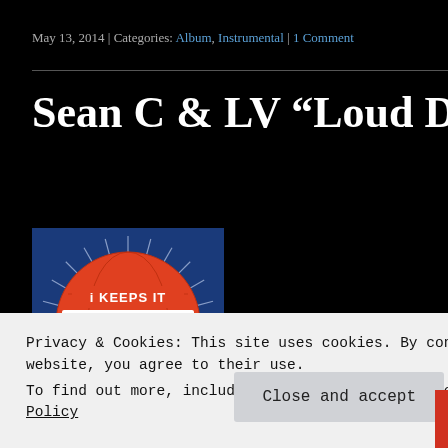May 13, 2014 | Categories: Album, Instrumental | 1 Comment
Sean C & LV “Loud Dreams Vol.
[Figure (logo): ikeepsit100.com logo — blue background with orange globe badge reading 'i KEEPS IT 100 .COM' with stars]
Privacy & Cookies: This site uses cookies. By continuing to use this website, you agree to their use.
To find out more, including how to control cookies, see here: Cookie Policy
Close and accept